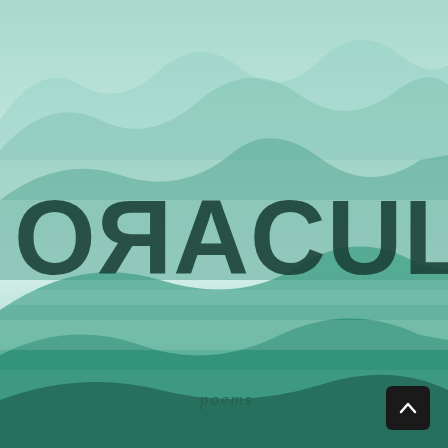[Figure (illustration): Book cover for 'ORACULE poems'. Features layered misty teal/green mountain silhouettes as background. Large dark green bold title text 'ORACULE' (with reversed R) dominates the center. The word 'poems' appears in italic below in a muted green. A small dark square button with an upward-pointing chevron sits in the bottom-right corner.]
ORACULE
poems